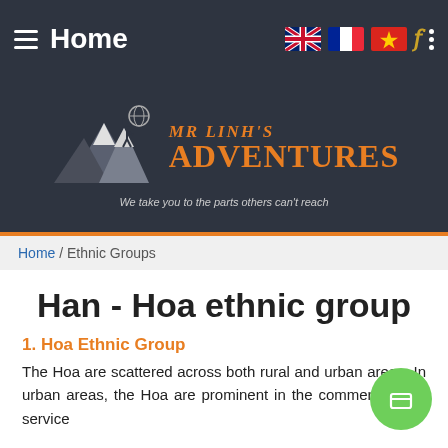Home
[Figure (logo): Mr Linh's Adventures logo with mountain and climber illustration. Text: MR LINH'S ADVENTURES — We take you to the parts others can't reach]
Home / Ethnic Groups
Han - Hoa ethnic group
1. Hoa Ethnic Group
The Hoa are scattered across both rural and urban areas. In urban areas, the Hoa are prominent in the commercial and service